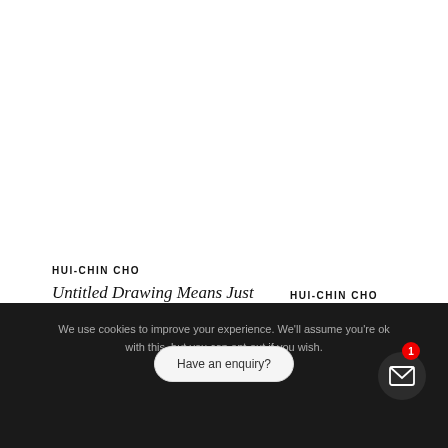HUI-CHIN CHO
Untitled Drawing Means Just Look At Me 4
Oil pastel on paper
HUI-CHIN CHO
Wedding Vows: Nothing Left to Say
We use cookies to improve your experience. We'll assume you're ok with this, but you can opt-out if you wish.
ACCEPT